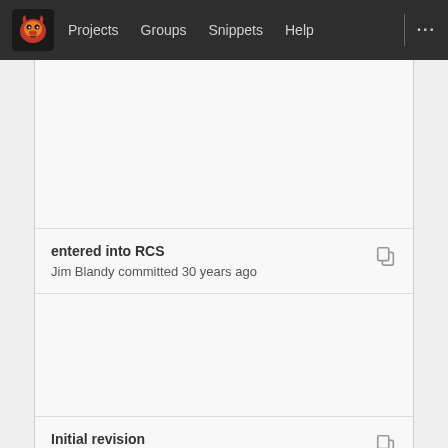Projects  Groups  Snippets  Help
entered into RCS
Jim Blandy committed 30 years ago
Initial revision
Jim Blandy committed 31 years ago